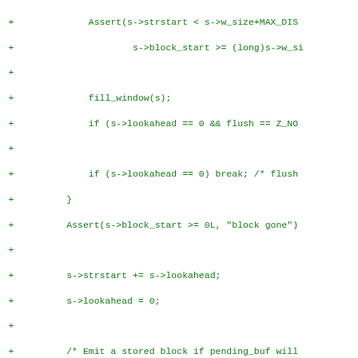[Figure (screenshot): Diff/patch view of C source code showing added lines (prefixed with +) in green monospace font. Code relates to zlib deflate window/block management functions including Assert, fill_window, FLUSH_BLOCK calls and related logic.]